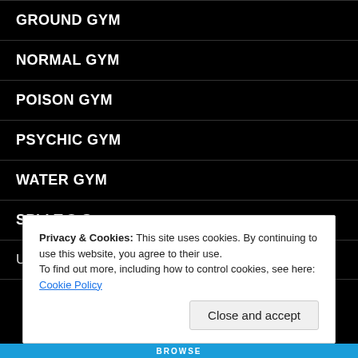GROUND GYM
NORMAL GYM
POISON GYM
PSYCHIC GYM
WATER GYM
SPLI T.O.S.
Updates
Privacy & Cookies: This site uses cookies. By continuing to use this website, you agree to their use.
To find out more, including how to control cookies, see here: Cookie Policy
Close and accept